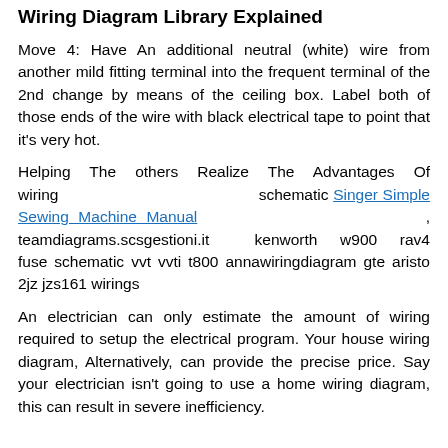Wiring Diagram Library Explained
Move 4: Have An additional neutral (white) wire from another mild fitting terminal into the frequent terminal of the 2nd change by means of the ceiling box. Label both of those ends of the wire with black electrical tape to point that it's very hot.
Helping The others Realize The Advantages Of wiring schematic Singer Simple Sewing Machine Manual , teamdiagrams.scsgestioni.it kenworth w900 rav4 fuse schematic vvt vvti t800 annawiringdiagram gte aristo 2jz jzs161 wirings
An electrician can only estimate the amount of wiring required to setup the electrical program. Your house wiring diagram, Alternatively, can provide the precise price. Say your electrician isn't going to use a home wiring diagram, this can result in severe inefficiency.